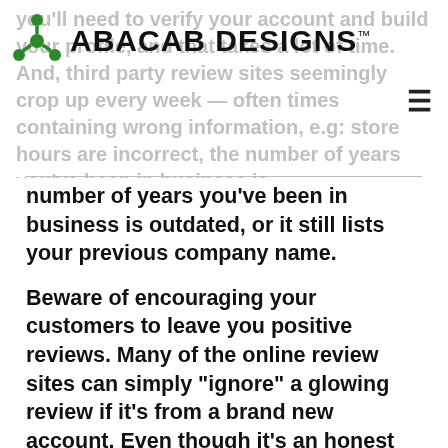you'll need to verify your account and build your profile, and that takes a lot of time. And, third party review sites seemingly crop up every week — often times containing wrong information, e.g: store hours are incorrect, the number of years you've been in business is outdated, or it still lists your previous company name.
number of years you've been in business is outdated, or it still lists your previous company name.
Beware of encouraging your customers to leave you positive reviews. Many of the online review sites can simply "ignore" a glowing review if it's from a brand new account. Even though it's an honest testimonial of your business from an actual satisfied customer, their algorithms may flag it as "not authentic", and it won't be published. Perhaps the most troubling aspect is businesses don't have ownership over any of their online directories. Should a review website